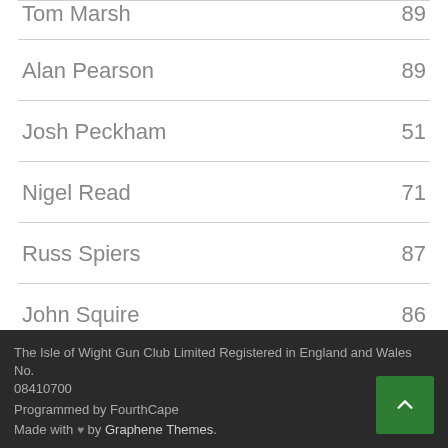| Name | Score |
| --- | --- |
| Tom Marsh | 89 |
| Alan Pearson | 89 |
| Josh Peckham | 51 |
| Nigel Read | 71 |
| Russ Spiers | 87 |
| John Squire | 86 |
| Phil Tuckwell | 78 |
The Isle of Wight Gun Club Limited Registered in England and Wales No. 08410700
Programmed by FourthCape
Made with ♥ by Graphene Themes.